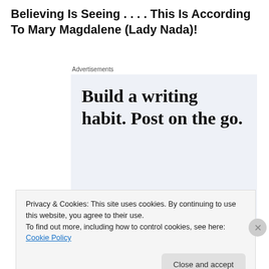Believing Is Seeing . . . . This Is According To Mary Magdalene (Lady Nada)!
Advertisements
[Figure (screenshot): WordPress app advertisement with text 'Build a writing habit. Post on the go.' and a 'GET THE APP' call to action with WordPress logo]
Privacy & Cookies: This site uses cookies. By continuing to use this website, you agree to their use.
To find out more, including how to control cookies, see here: Cookie Policy